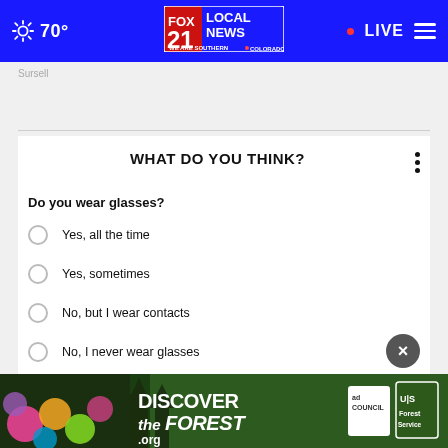70° FOX 21 LOCAL NEWS WE ARE SOUTHERN COLORADO • LIVE
Sursell
WHAT DO YOU THINK?
Do you wear glasses?
Yes, all the time
Yes, sometimes
No, but I wear contacts
No, I never wear glasses
Does not apply
[Figure (other): DISCOVERtheFOREST.org advertisement banner with colorful flowers and forest background. Ad Council and US Forest Service logos visible.]